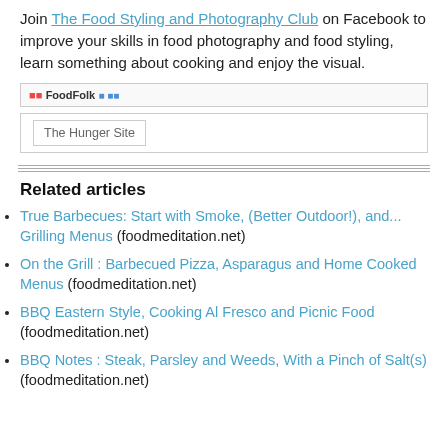Join The Food Styling and Photography Club on Facebook to improve your skills in food photography and food styling, learn something about cooking and enjoy the visual.
[Figure (screenshot): Two banner/badge images: a small Facebook-style badge with icons, and a 'The Hunger Site' button image]
Related articles
True Barbecues: Start with Smoke, (Better Outdoor!), and... Grilling Menus (foodmeditation.net)
On the Grill : Barbecued Pizza, Asparagus and Home Cooked Menus (foodmeditation.net)
BBQ Eastern Style, Cooking Al Fresco and Picnic Food (foodmeditation.net)
BBQ Notes : Steak, Parsley and Weeds, With a Pinch of Salt(s) (foodmeditation.net)